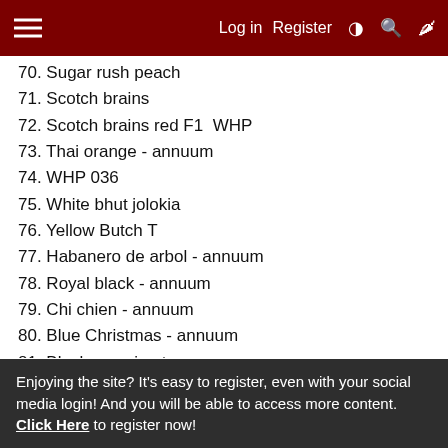Log in  Register
70. Sugar rush peach
71. Scotch brains
72. Scotch brains red F1  WHP
73. Thai orange - annuum
74. WHP 036
75. White bhut jolokia
76. Yellow Butch T
77. Habanero de arbol - annuum
78. Royal black - annuum
79. Chi chien - annuum
80. Blue Christmas - annuum
81. Black scorpion tongue - annuum
82. Fatalii gourmet jigsaw
83. Dalle Khursani
84. 7 pot chaguanas yellow
Enjoying the site? It's easy to register, even with your social media login! And you will be able to access more content. Click Here to register now!